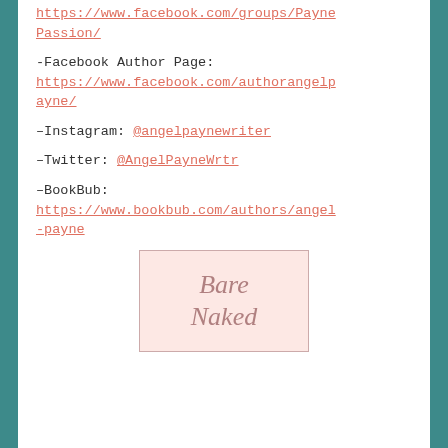https://www.facebook.com/groups/PaynePassion/
-Facebook Author Page: https://www.facebook.com/authorangelpayne/
-Instagram: @angelpaynewriter
-Twitter: @AngelPayneWrtr
–BookBub: https://www.bookbub.com/authors/angel-payne
[Figure (logo): Bare Naked logo in script font on pink background]